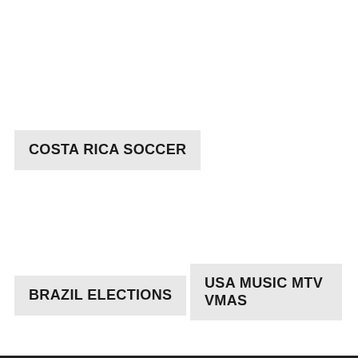COSTA RICA SOCCER
BRAZIL ELECTIONS
USA MUSIC MTV VMAS